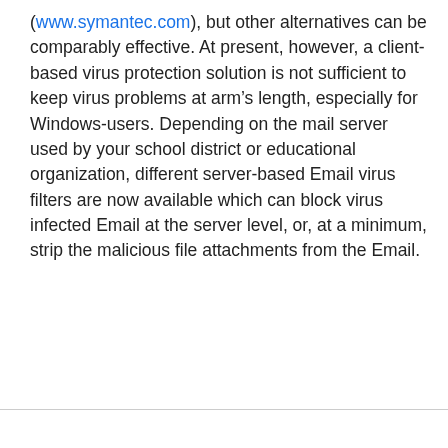(www.symantec.com), but other alternatives can be comparably effective. At present, however, a client-based virus protection solution is not sufficient to keep virus problems at arm’s length, especially for Windows-users. Depending on the mail server used by your school district or educational organization, different server-based Email virus filters are now available which can block virus infected Email at the server level, or, at a minimum, strip the malicious file attachments from the Email.